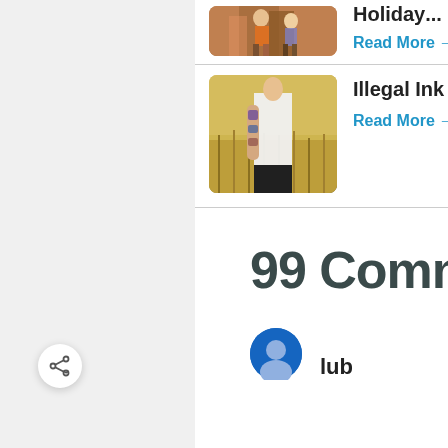[Figure (photo): Partial view of top article with hikers photo, cropped at top]
Read More →
[Figure (photo): Person with tattoos standing in a wheat or grain field wearing a white shirt]
Illegal Ink - 11 Countri...
Read More →
99 Comments
[Figure (photo): Blue circular avatar photo, cropped at bottom]
lub